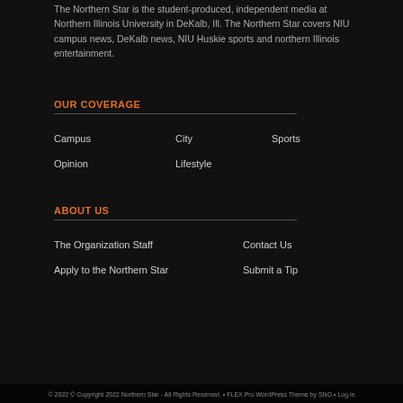The Northern Star is the student-produced, independent media at Northern Illinois University in DeKalb, Ill. The Northern Star covers NIU campus news, DeKalb news, NIU Huskie sports and northern Illinois entertainment.
OUR COVERAGE
Campus
City
Sports
Opinion
Lifestyle
ABOUT US
The Organization Staff
Contact Us
Apply to the Northern Star
Submit a Tip
© 2022 © Copyright 2022 Northern Star - All Rights Reserved. • FLEX Pro WordPress Theme by SNO • Log in